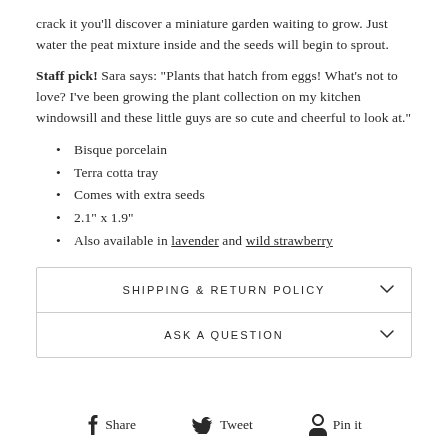crack it you'll discover a miniature garden waiting to grow. Just water the peat mixture inside and the seeds will begin to sprout.
Staff pick! Sara says: "Plants that hatch from eggs! What's not to love? I've been growing the plant collection on my kitchen windowsill and these little guys are so cute and cheerful to look at."
Bisque porcelain
Terra cotta tray
Comes with extra seeds
2.1" x 1.9"
Also available in lavender and wild strawberry
SHIPPING & RETURN POLICY
ASK A QUESTION
Share  Tweet  Pin it